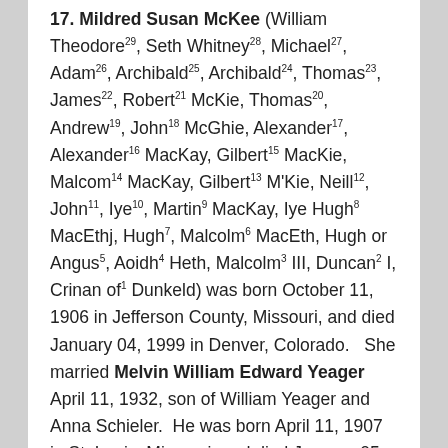17. Mildred Susan McKee (William Theodore29, Seth Whitney28, Michael27, Adam26, Archibald25, Archibald24, Thomas23, James22, Robert21 McKie, Thomas20, Andrew19, John18 McGhie, Alexander17, Alexander16 MacKay, Gilbert15 MacKie, Malcom14 MacKay, Gilbert13 M'Kie, Neill12, John11, Iye10, Martin9 MacKay, Iye Hugh8 MacEthj, Hugh7, Malcolm6 MacEth, Hugh or Angus5, Aoidh4 Heth, Malcolm3 III, Duncan2 I, Crinan of1 Dunkeld) was born October 11, 1906 in Jefferson County, Missouri, and died January 04, 1999 in Denver, Colorado.  She married Melvin William Edward Yeager April 11, 1932, son of William Yeager and Anna Schieler.  He was born April 11, 1907 in St. Louis, Missouri, and died January 05, 1997 in Dallas, Texas.